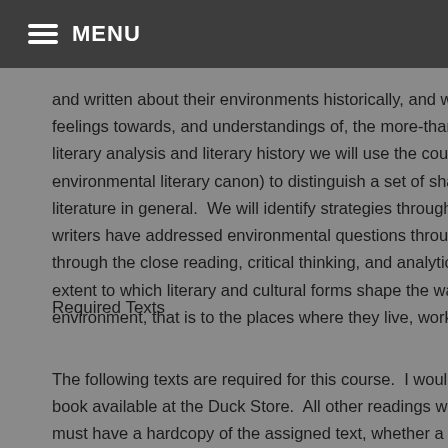MENU
and written about their environments historically, and we will cons feelings towards, and understandings of, the more-than-human wor literary analysis and literary history we will use the course texts (w environmental literary canon) to distinguish a set of shared tropes literature in general.  We will identify strategies through which po writers have addressed environmental questions through both the through the close reading, critical thinking, and analytical writing m extent to which literary and cultural forms shape the ways that peo environment, that is to the places where they live, work, travel, and
Required Texts
The following texts are required for this course.  I would suggest th book available at the Duck Store.  All other readings will be availabl must have a hardcopy of the assigned text, whether a book or a prin